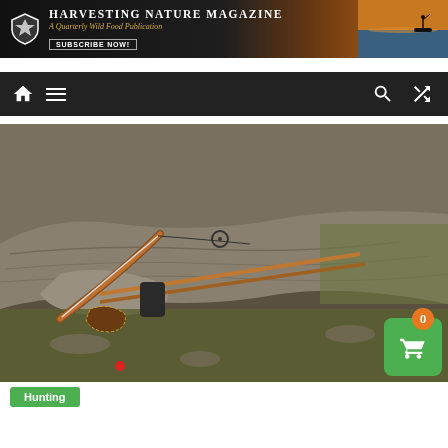[Figure (screenshot): Harvesting Nature Magazine banner advertisement with dark background, magazine logo (shield/arrowhead), title text 'Harvesting Nature Magazine', subtitle 'A Quarterly Wild Food Publication', 'Subscribe Now!' button, and sunset/fishing scene on right]
[Figure (screenshot): Dark navigation bar with home icon, hamburger menu icon on left, and search and shuffle icons on right]
[Figure (photo): Photograph of a bow and arrows resting on weathered driftwood with rocky/brushy terrain in background. A shopping cart button with orange badge showing '0' is overlaid in bottom right corner.]
Hunting